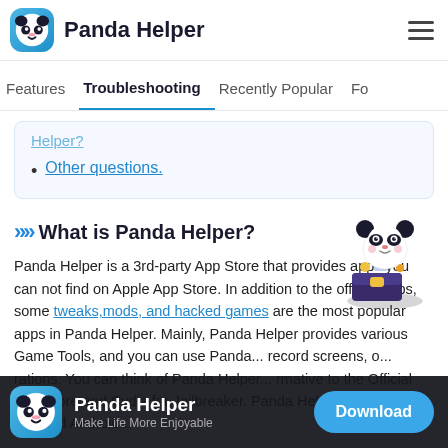Panda Helper
Features | Troubleshooting | Recently Popular | Fo...
Helper?
Other questions.
What is Panda Helper?
[Figure (illustration): Panda mascot character holding a treasure chest with items]
Panda Helper is a 3rd-party App Store that provides apps you can not find on Apple App Store. In addition to the official apps, some tweaks,mods, and hacked games are the most popular apps in Panda Helper. Mainly, Panda Helper provides various Game Tools, and you can use Panda... record screens, o... rations. You can think of Panda Helper... rmative to the Official App Store and Cydia for Jailbreaker. Panda Helper can run on iOS and Android...
Panda Helper — Make Life More Enjoyable — Download